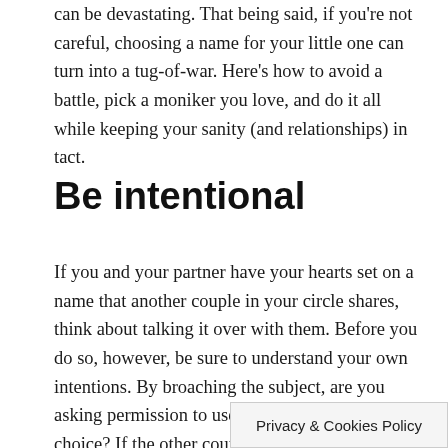can be devastating. That being said, if you're not careful, choosing a name for your little one can turn into a tug-of-war. Here's how to avoid a battle, pick a moniker you love, and do it all while keeping your sanity (and relationships) in tact.
Be intentional
If you and your partner have your hearts set on a name that another couple in your circle shares, think about talking it over with them. Before you do so, however, be sure to understand your own intentions. By broaching the subject, are you asking permission to use the name of your choice? If the other couple doesn't offer their blessing, are you prepared to move forward without it, or will you pick another name? Don't ask permission if you aren't prepared to cross [blank] your
Privacy & Cookies Policy